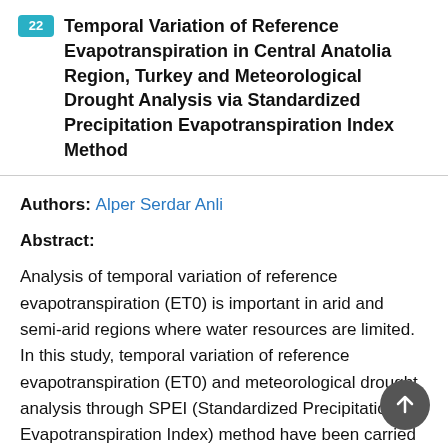22 Temporal Variation of Reference Evapotranspiration in Central Anatolia Region, Turkey and Meteorological Drought Analysis via Standardized Precipitation Evapotranspiration Index Method
Authors: Alper Serdar Anli
Abstract:
Analysis of temporal variation of reference evapotranspiration (ET0) is important in arid and semi-arid regions where water resources are limited. In this study, temporal variation of reference evapotranspiration (ET0) and meteorological drought analysis through SPEI (Standardized Precipitation Evapotranspiration Index) method have been carried out in provinces of Central Anatolia Region, Turkey. Reference evapotranspiration of concerning provinces in the region has been estimated using Penman-